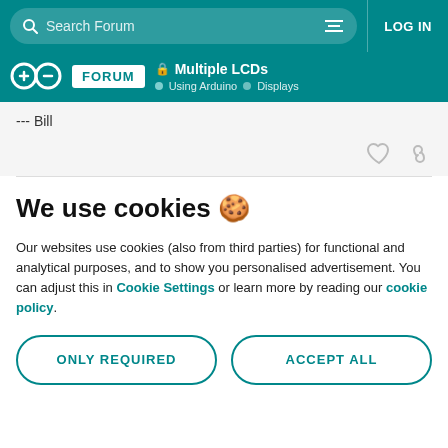Search Forum | LOG IN
FORUM | Multiple LCDs | Using Arduino | Displays
--- Bill
We use cookies 🍪
Our websites use cookies (also from third parties) for functional and analytical purposes, and to show you personalised advertisement. You can adjust this in Cookie Settings or learn more by reading our cookie policy.
ONLY REQUIRED
ACCEPT ALL